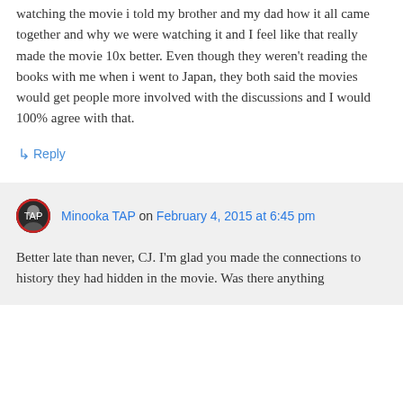watching the movie i told my brother and my dad how it all came together and why we were watching it and I feel like that really made the movie 10x better. Even though they weren't reading the books with me when i went to Japan, they both said the movies would get people more involved with the discussions and I would 100% agree with that.
↳ Reply
Minooka TAP on February 4, 2015 at 6:45 pm
Better late than never, CJ. I'm glad you made the connections to history they had hidden in the movie. Was there anything